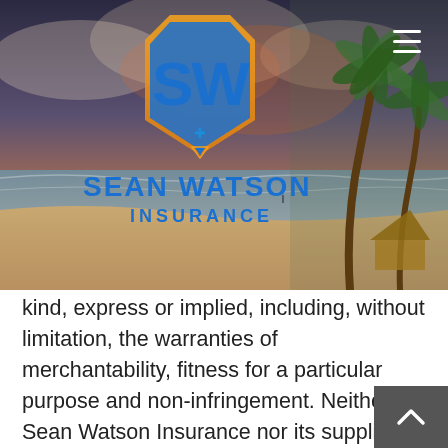[Figure (photo): Hero image of a tropical beach scene with palm trees, sandy beach, ocean waves, and a thatched hut. Overlaid with the Sean Watson Insurance logo (shield shape with SW letters and a caduceus symbol) and the text 'SEAN WATSON INSURANCE' in blue and orange. A hamburger menu icon appears in the top right corner.]
kind, express or implied, including, without limitation, the warranties of merchantability, fitness for a particular purpose and non-infringement. Neither Sean Watson Insurance nor its suppliers and licensors, makes any warranty that the Website will be error free or that access thereto will be continuous or uninterrupted. You understand that you download from, or otherwise obtain content or services through, the Website at